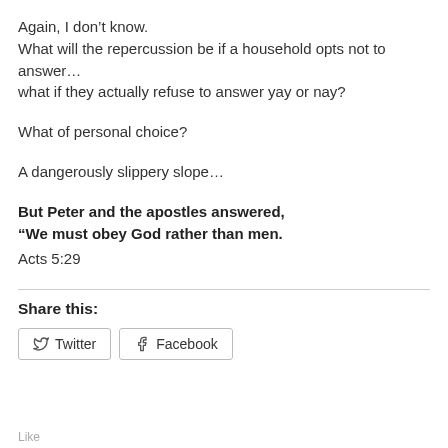Again, I don't know.
What will the repercussion be if a household opts not to answer…
what if they actually refuse to answer yay or nay?
What of personal choice?
A dangerously slippery slope…
But Peter and the apostles answered,
“We must obey God rather than men.
Acts 5:29
Share this:
Twitter   Facebook